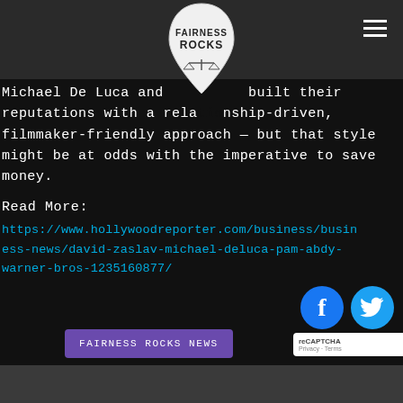FAIRNESS ROCKS (logo)
Michael De Luca and [Pam Abdy] built their reputations with a relationship-driven, filmmaker-friendly approach — but that style might be at odds with the imperative to save money.
Read More:
https://www.hollywoodreporter.com/business/business-news/david-zaslav-michael-deluca-pam-abdy-warner-bros-1235160877/
[Figure (logo): Fairness Rocks guitar pick logo with scales of justice icon]
FAIRNESS ROCKS NEWS